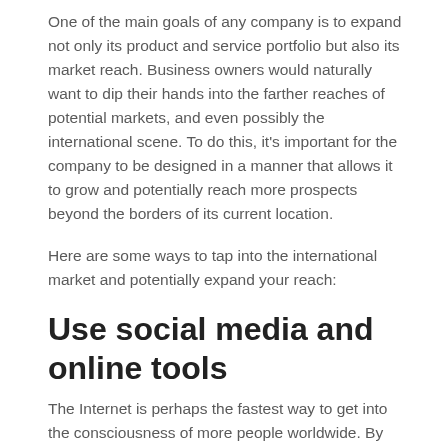One of the main goals of any company is to expand not only its product and service portfolio but also its market reach. Business owners would naturally want to dip their hands into the farther reaches of potential markets, and even possibly the international scene. To do this, it's important for the company to be designed in a manner that allows it to grow and potentially reach more prospects beyond the borders of its current location.
Here are some ways to tap into the international market and potentially expand your reach:
Use social media and online tools
The Internet is perhaps the fastest way to get into the consciousness of more people worldwide. By creating effective social media marketing strategies, you can open your business up to a lot of opportunities for growth and expansion.